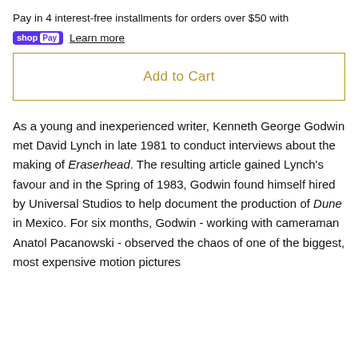Pay in 4 interest-free installments for orders over $50 with
shopPay Learn more
Add to Cart
As a young and inexperienced writer, Kenneth George Godwin met David Lynch in late 1981 to conduct interviews about the making of Eraserhead. The resulting article gained Lynch's favour and in the Spring of 1983, Godwin found himself hired by Universal Studios to help document the production of Dune in Mexico. For six months, Godwin - working with cameraman Anatol Pacanowski - observed the chaos of one of the biggest, most expensive motion pictures